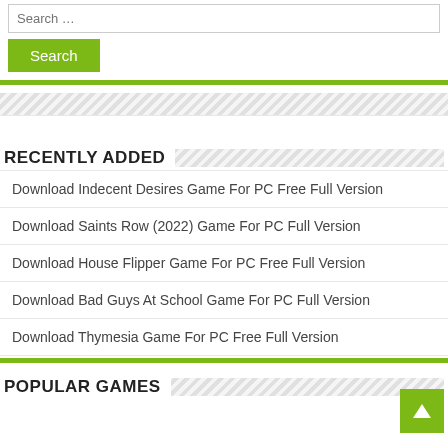Search …
Search
RECENTLY ADDED
Download Indecent Desires Game For PC Free Full Version
Download Saints Row (2022) Game For PC Full Version
Download House Flipper Game For PC Free Full Version
Download Bad Guys At School Game For PC Full Version
Download Thymesia Game For PC Free Full Version
POPULAR GAMES